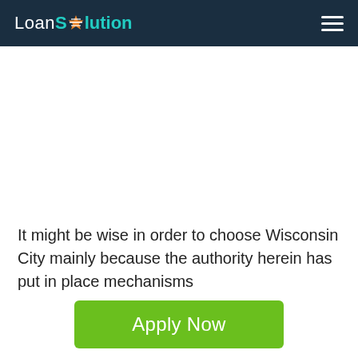LoanSolution
It might be wise in order to choose Wisconsin City mainly because the authority herein has put in place mechanisms
[Figure (other): Apply Now green button]
Applying does NOT affect your credit score!
No credit check to apply.